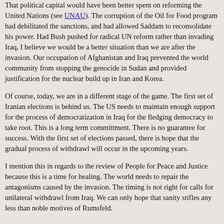That political capital would have been better spent on reforming the United Nations (see UNAU). The corruption of the Oil for Food program had debilitated the sanctions, and had allowed Saddam to reconsolidate his power. Had Bush pushed for radical UN reform rather than invading Iraq, I believe we would be a better situation than we are after the invasion. Our occupation of Afghanistan and Iraq prevented the world community from stopping the genocide in Sudan and provided justification for the nuclear build up in Iran and Korea.
Of course, today, we are in a different stage of the game. The first set of Iranian elections is behind us. The US needs to maintain enough support for the process of democratization in Iraq for the fledging democracy to take root. This is a long term committment. There is no guarantee for success. With the first set of elections passed, there is hope that the gradual process of withdrawl will occur in the upcoming years.
I mention this in regards to the review of People for Peace and Justice because this is a time for healing. The world needs to repair the antagonisms caused by the invasion. The timing is not right for calls for unilateral withdrawl from Iraq. We can only hope that sanity stifles any less than noble motives of Rumsfeld.